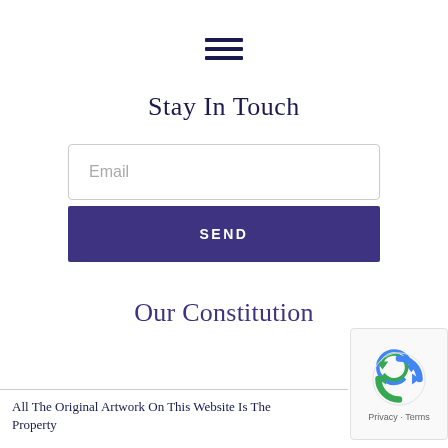[Figure (illustration): Hamburger menu icon — three horizontal dark navy lines stacked vertically, centered at top of page]
Stay In Touch
Email
SEND
Our Constitution
All The Original Artwork On This Website Is The Property
[Figure (logo): reCAPTCHA badge — blue arrow/refresh circle icon with text 'Privacy · Terms']